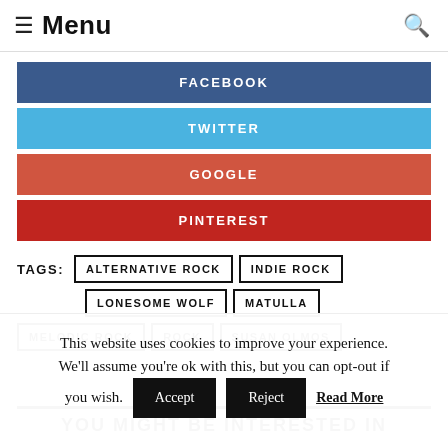Menu
FACEBOOK
TWITTER
GOOGLE
PINTEREST
TAGS: ALTERNATIVE ROCK, INDIE ROCK, LONESOME WOLF, MATULLA, MELODIC ROCK, ROCK, SUSAN OLMOS
YOU MIGHT BE INTERESTED IN
This website uses cookies to improve your experience. We'll assume you're ok with this, but you can opt-out if you wish. Accept Reject Read More